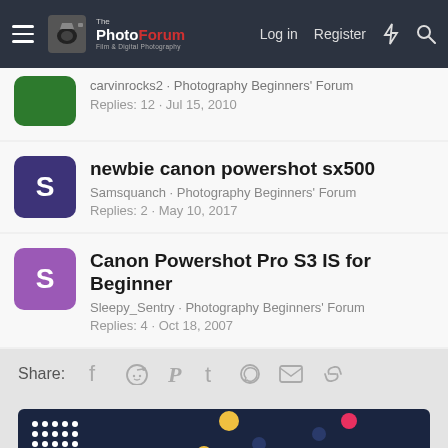The PhotoForum — Log in  Register
carvinrocks2 · Photography Beginners' Forum
Replies: 12 · Jul 15, 2010
newbie canon powershot sx500
Samsquanch · Photography Beginners' Forum
Replies: 2 · May 10, 2017
Canon Powershot Pro S3 IS for Beginner
Sleepy_Sentry · Photography Beginners' Forum
Replies: 4 · Oct 18, 2007
Share:
[Figure (infographic): MPB.com advertisement banner with colorful dots on dark navy background and italic 'Make' text]